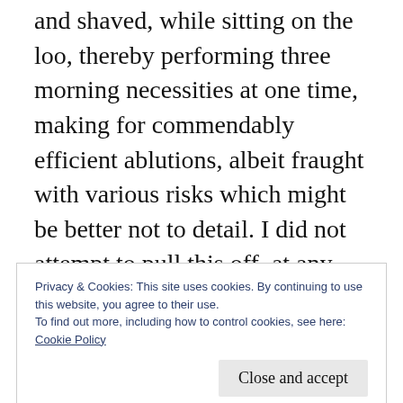and shaved, while sitting on the loo, thereby performing three morning necessities at one time, making for commendably efficient ablutions, albeit fraught with various risks which might be better not to detail. I did not attempt to pull this off, at any rate.
After Horsham, it was London-Edinburgh-London on the train, followed by a camping stint at the Wildfires Festival in West Sussex, where I got alternately burned by the sun and
Privacy & Cookies: This site uses cookies. By continuing to use this website, you agree to their use.
To find out more, including how to control cookies, see here:
Cookie Policy
Close and accept
...